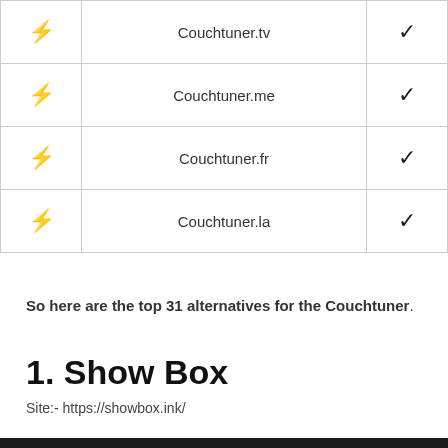|  | Site | ✓ |
| --- | --- | --- |
| ⚡ | Couchtuner.tv | ✓ |
| ⚡ | Couchtuner.me | ✓ |
| ⚡ | Couchtuner.fr | ✓ |
| ⚡ | Couchtuner.la | ✓ |
So here are the top 31 alternatives for the Couchtuner.
1. Show Box
Site:- https://showbox.ink/